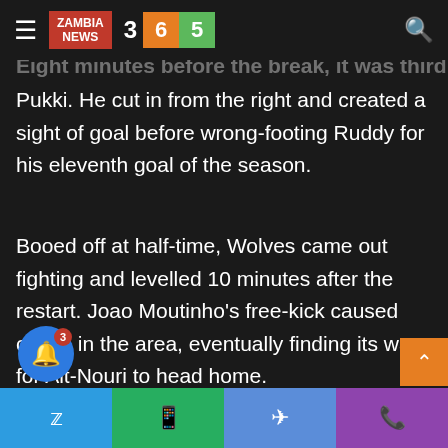ZAMBIA NEWS 3 6 5
Eight minutes before the break, it was third time lucky for
Pukki. He cut in from the right and created a sight of goal before wrong-footing Ruddy for his eleventh goal of the season.
Booed off at half-time, Wolves came out fighting and levelled 10 minutes after the restart. Joao Moutinho's free-kick caused chaos in the area, eventually finding its way for Ait-Nouri to head home.
The mood changed instantly. Chiquinho, a half-time change for the hosts, was causing all sorts of problems and Norwich suddenly looked vulnerable at the back. Pedro Neto nearly put Wolves ahead, only to be thwarted by Angus Gunn.
Twitter WhatsApp Telegram Phone